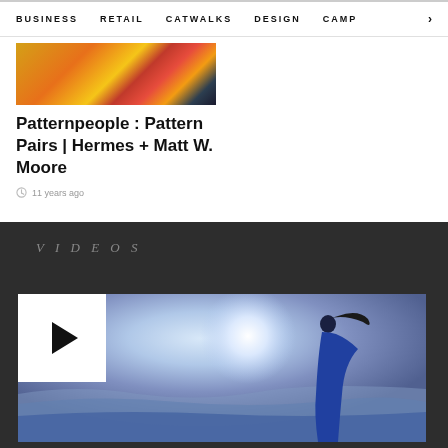BUSINESS  RETAIL  CATWALKS  DESIGN  CAMP >
[Figure (photo): Colorful fashion photo with orange, yellow and red patterned garments]
Patternpeople : Pattern Pairs | Hermes + Matt W. Moore
11 years ago
VIDEOS
[Figure (screenshot): Video player showing a woman in a blue dress in a desert landscape with a bright sun, with a play button overlay in the top left corner]